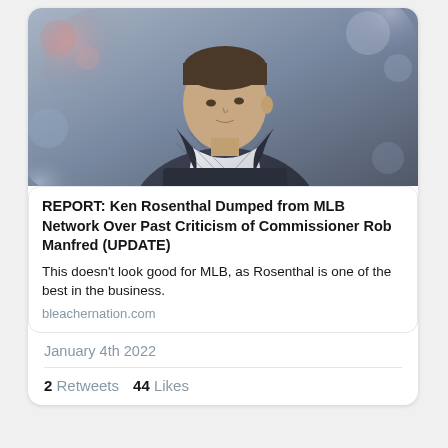[Figure (photo): Man in a dark plaid blazer and patterned bow tie, looking to the side, blurred background of crowd/stadium.]
REPORT: Ken Rosenthal Dumped from MLB Network Over Past Criticism of Commissioner Rob Manfred (UPDATE)
This doesn't look good for MLB, as Rosenthal is one of the best in the business.
bleachernation.com
January 4th 2022
2 Retweets  44 Likes